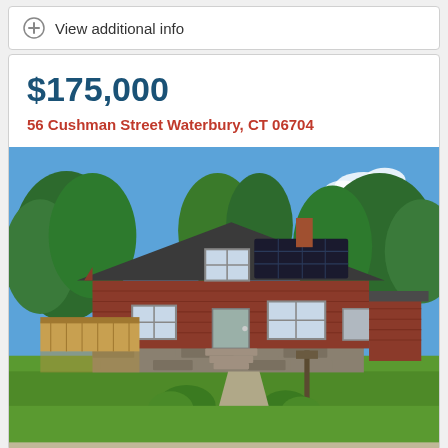View additional info
$175,000
56 Cushman Street Waterbury, CT 06704
[Figure (photo): Exterior photo of a red-shingled cape cod style house with solar panels on roof, a wooden deck on the left, stone foundation, front lawn with shrubs and a lamp post, surrounded by trees under blue sky.]